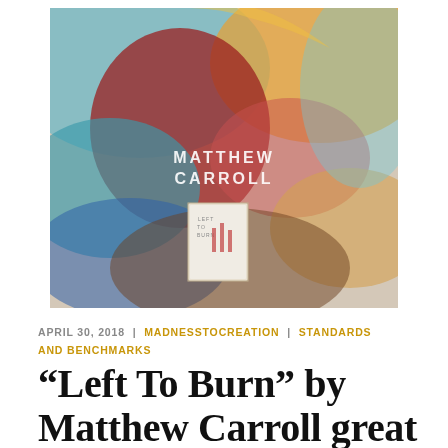[Figure (photo): Album cover art for 'Left To Burn' by Matthew Carroll — colorful abstract painting of a heart with swirling blue, red, orange and teal colors; artist name 'MATTHEW CARROLL' written in white text in center; small album booklet/CD case visible in lower center of the image]
APRIL 30, 2018  |  MADNESSTOCREATION  |  STANDARDS AND BENCHMARKS
“Left To Burn” by Matthew Carroll great guitar rock for you!